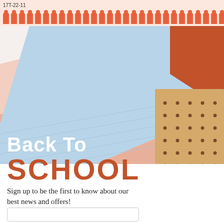17T-22-11
[Figure (photo): Overhead photo of pastel-colored notebooks - light blue, peach/pink, and a tan dotted-pattern notebook with a terracotta corner piece, arranged overlapping on a white surface with a pencil visible.]
Back To SCHOOL
Sign up to be the first to know about our best news and offers!